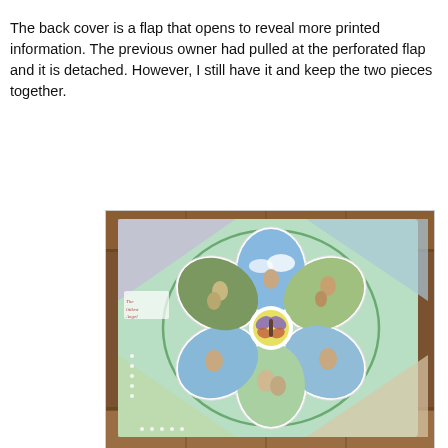The back cover is a flap that opens to reveal more printed information. The previous owner had pulled at the perforated flap and it is detached. However, I still have it and keep the two pieces together.
[Figure (photo): A photo of an open book/album with a flower-petal shaped layout showing multiple photographs arranged in a cloverleaf/flower pattern on a pastel green background with decorative scalloped edges, placed on a wooden surface.]